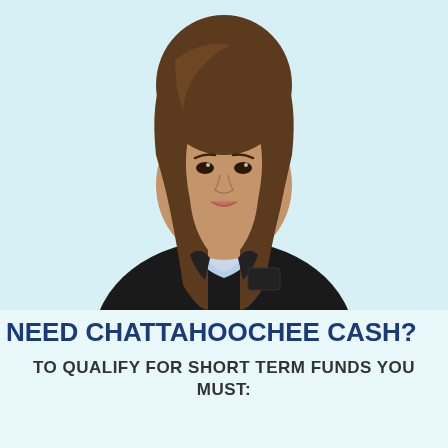[Figure (photo): Professional woman with long brown hair wearing a black blazer over a light blue collared shirt, photographed from approximately waist up against a light blue/teal background]
NEED CHATTAHOOCHEE CASH?
TO QUALIFY FOR SHORT TERM FUNDS YOU MUST: